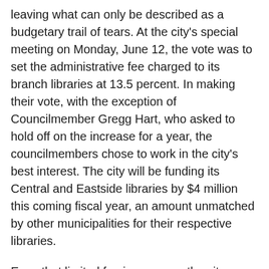leaving what can only be described as a budgetary trail of tears. At the city's special meeting on Monday, June 12, the vote was to set the administrative fee charged to its branch libraries at 13.5 percent. In making their vote, with the exception of Councilmember Gregg Hart, who asked to hold off on the increase for a year, the councilmembers chose to work in the city's best interest. The city will be funding its Central and Eastside libraries by $4 million this coming fiscal year, an amount unmatched by other municipalities for their respective libraries.
Even that limited fee increase — the city was deciding on somewhere between 9 and 18 percent — sort of good for the library system but fairly bad for Solvang and Carpinteria branches, which would go into the red by $17,784 and $77,085, respectively, was nothing compared to the human toll resonating from the financial woes and administrative decisions.